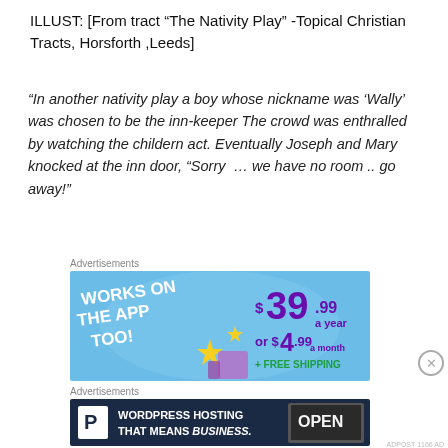ILLUST: [From tract “The Nativity Play” -Topical Christian Tracts, Horsforth ,Leeds]
“In another nativity play a boy whose nickname was ‘Wally’ was chosen to be the inn-keeper The crowd was enthralled by watching the childern act. Eventually Joseph and Mary knocked at the inn door, “Sorry … we have no room .. go away!”
Advertisements
[Figure (infographic): Blue advertisement banner: 'WORKS ON THE APP TOO!' on left in white bold text, with price '$39.99 a year or $4.99 a month + FREE SHIPPING' in purple on right, decorative stars and thumb-up icon]
Advertisements
[Figure (infographic): Dark navy WordPress hosting advertisement: white P logo on left, 'WORDPRESS HOSTING THAT MEANS BUSINESS.' in bold white text, 'OPEN' sign image on right]